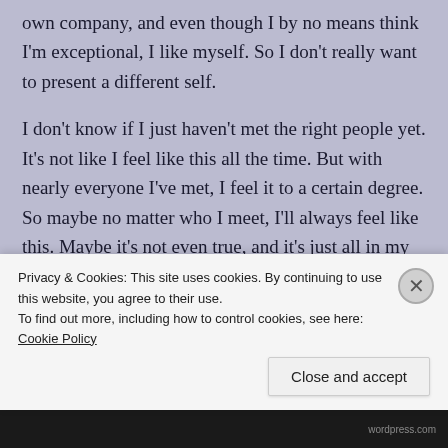own company, and even though I by no means think I'm exceptional, I like myself. So I don't really want to present a different self.
I don't know if I just haven't met the right people yet. It's not like I feel like this all the time. But with nearly everyone I've met, I feel it to a certain degree. So maybe no matter who I meet, I'll always feel like this. Maybe it's not even true, and it's just all in my head. It's not like I can talk about it with anyone, because they'll just vehemently deny it and inwardly feel guilty that
Privacy & Cookies: This site uses cookies. By continuing to use this website, you agree to their use.
To find out more, including how to control cookies, see here: Cookie Policy
Close and accept